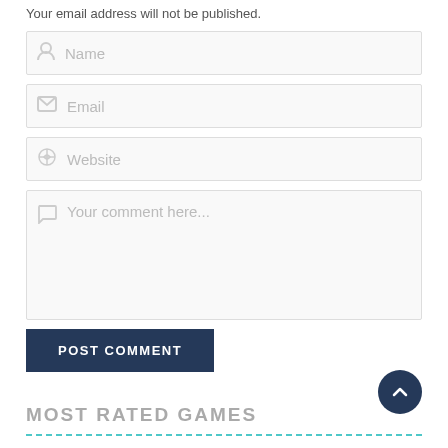Your email address will not be published.
Name
Email
Website
Your comment here...
POST COMMENT
MOST RATED GAMES